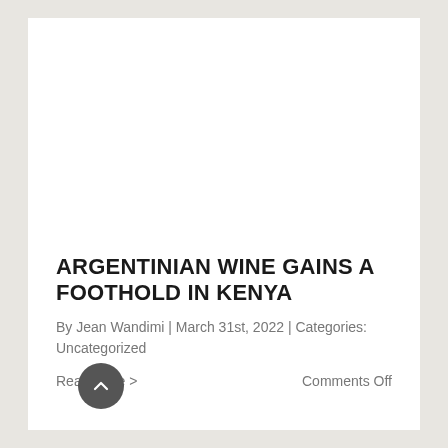[Figure (photo): White/blank image placeholder area at the top of the article card]
ARGENTINIAN WINE GAINS A FOOTHOLD IN KENYA
By Jean Wandimi | March 31st, 2022 | Categories: Uncategorized
Read More >
Comments Off